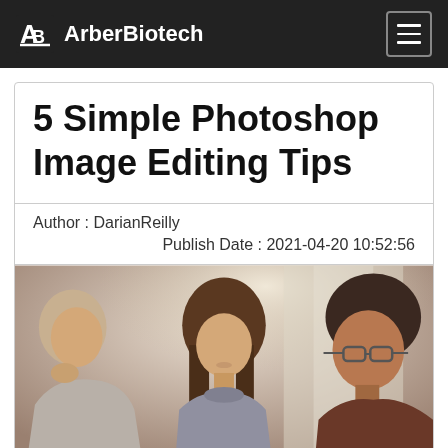ArberBiotech
5 Simple Photoshop Image Editing Tips
Author : DarianReilly
Publish Date : 2021-04-20 10:52:56
[Figure (photo): Three people sitting together, looking down, collaborating. A bright background with natural light.]